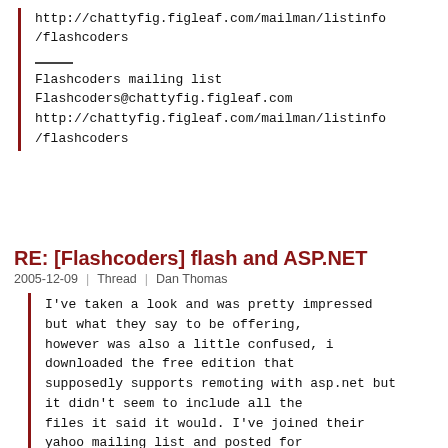http://chattyfig.figleaf.com/mailman/listinfo/flashcoders
Flashcoders mailing list
Flashcoders@chattyfig.figleaf.com
http://chattyfig.figleaf.com/mailman/listinfo/flashcoders
RE: [Flashcoders] flash and ASP.NET
2005-12-09  |  Thread  |  Dan Thomas
I've taken a look and was pretty impressed but what they say to be offering, however was also a little confused, i downloaded the free edition that supposedly supports remoting with asp.net but it didn't seem to include all the files it said it would. I've joined their yahoo mailing list and posted for help so will keep you posted.